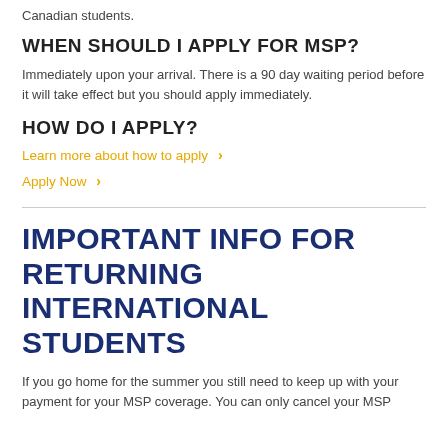Canadian students.
WHEN SHOULD I APPLY FOR MSP?
Immediately upon your arrival. There is a 90 day waiting period before it will take effect but you should apply immediately.
HOW DO I APPLY?
Learn more about how to apply ›
Apply Now ›
IMPORTANT INFO FOR RETURNING INTERNATIONAL STUDENTS
If you go home for the summer you still need to keep up with your payment for your MSP coverage. You can only cancel your MSP